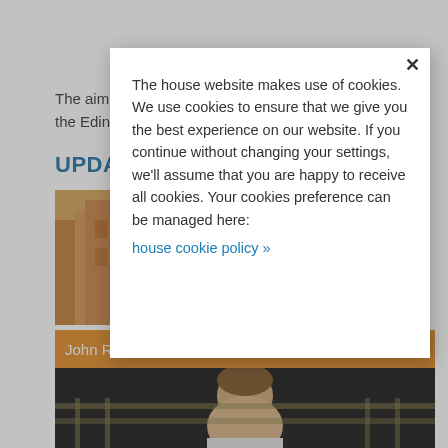The aim ... the Edin...
UPDA
[Figure (photo): Building exterior with warm lighting and trees, partially visible behind modal overlay]
The house website makes use of cookies. We use cookies to ensure that we give you the best experience on our website. If you continue without changing your settings, we'll assume that you are happy to receive all cookies. Your cookies preference can be managed here: house cookie policy »
John Retallack – Pristina research trip
[Figure (photo): Portrait photograph of a man smiling, dark background, partially visible at bottom of page]